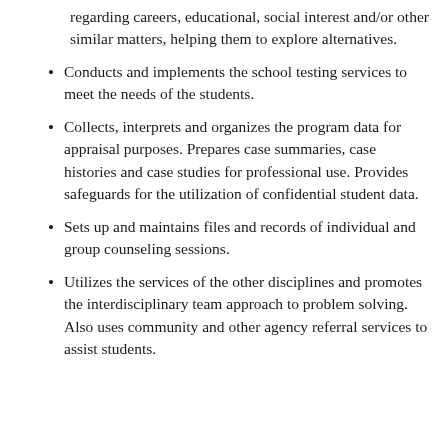regarding careers, educational, social interest and/or other similar matters, helping them to explore alternatives.
Conducts and implements the school testing services to meet the needs of the students.
Collects, interprets and organizes the program data for appraisal purposes. Prepares case summaries, case histories and case studies for professional use. Provides safeguards for the utilization of confidential student data.
Sets up and maintains files and records of individual and group counseling sessions.
Utilizes the services of the other disciplines and promotes the interdisciplinary team approach to problem solving. Also uses community and other agency referral services to assist students.